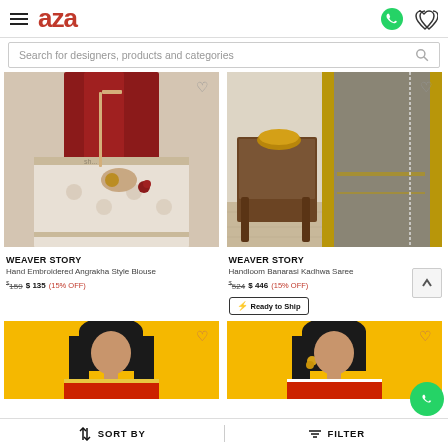aza — navigation header with hamburger menu, logo, WhatsApp icon, and wishlist icon
Search for designers, products and categories
[Figure (photo): Hand embroidered red and white saree/blouse on a model — close-up of torso]
[Figure (photo): Handloom Banarasi Kadhwa Saree in grey and gold on a model near a table]
WEAVER STORY
Hand Embroidered Angrakha Style Blouse
$159  $135  (15% OFF)
WEAVER STORY
Handloom Banarasi Kadhwa Saree
$524  $446  (15% OFF)
Ready to Ship
[Figure (photo): Woman in teal and red saree on yellow background — bottom product card]
[Figure (photo): Woman in navy and red saree on yellow background — bottom product card]
SORT BY    FILTER